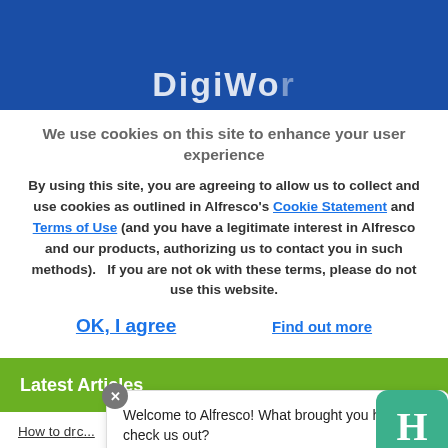[Figure (screenshot): Blue header banner with partial white text visible, part of a website header logo/title]
We use cookies on this site to enhance your user experience
By using this site, you are agreeing to allow us to collect and use cookies as outlined in Alfresco's Cookie Statement and Terms of Use (and you have a legitimate interest in Alfresco and our products, authorizing us to contact you in such methods).   If you are not ok with these terms, please do not use this website.
OK, I agree
Find out more
Latest Articles
How to d...
How to ma...
Welcome to Alfresco! What brought you here to check us out?